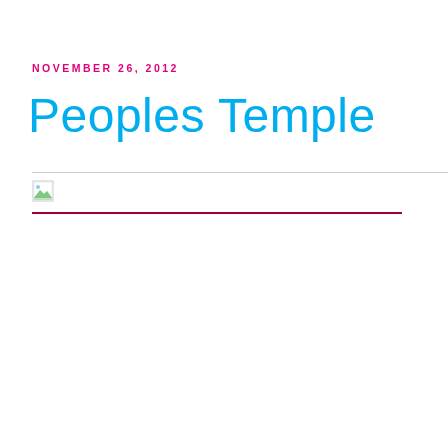NOVEMBER 26, 2012
Peoples Temple
[Figure (other): Broken image placeholder with horizontal rules above and below]